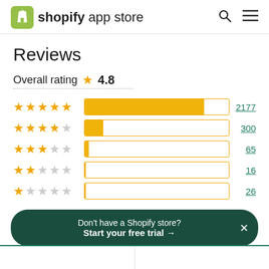shopify app store
Reviews
Overall rating ★ 4.8
[Figure (bar-chart): Rating distribution]
Don't have a Shopify store? Start your free trial →